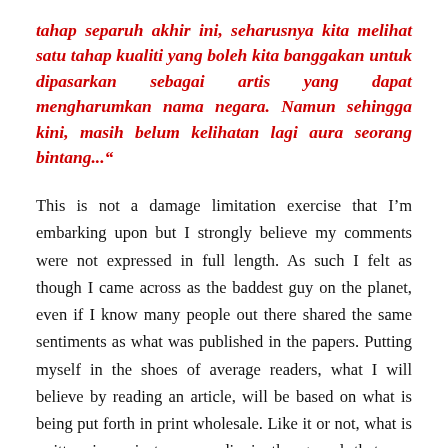tahap separuh akhir ini, seharusnya kita melihat satu tahap kualiti yang boleh kita banggakan untuk dipasarkan sebagai artis yang dapat mengharumkan nama negara. Namun sehingga kini, masih belum kelihatan lagi aura seorang bintang...“
This is not a damage limitation exercise that I’m embarking upon but I strongly believe my comments were not expressed in full length. As such I felt as though I came across as the baddest guy on the planet, even if I know many people out there shared the same sentiments as what was published in the papers. Putting myself in the shoes of average readers, what I will believe by reading an article, will be based on what is being put forth in print wholesale. Like it or not, what is written in mainstream media is the gospel that one should subscribe to, the politically correct